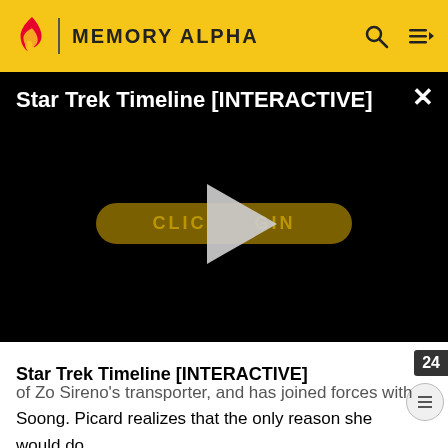MEMORY ALPHA
[Figure (screenshot): Video player panel with black background showing 'Star Trek Timeline [INTERACTIVE]' title, a gold 'CLICK TO BEGIN' button, and a large play triangle overlay. A white X close button is in the top-right corner.]
Star Trek Timeline [INTERACTIVE]
of Zo Sireno's transporter, and has joined forces with Soong. Picard realizes that the only reason she would do that was to take the ship itself, which Seven points out would give her a four hundred year jumpstart to